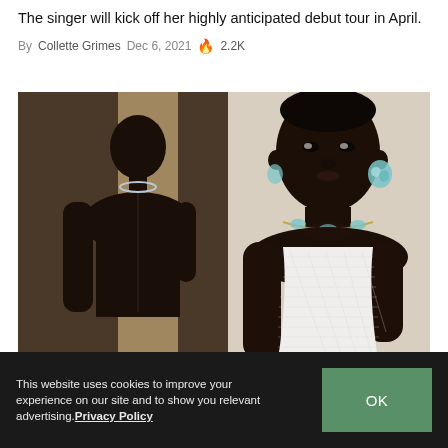The singer will kick off her highly anticipated debut tour in April.
By Collette Grimes  Dec 6, 2021  🔥 2.2K
[Figure (photo): A dark-skinned woman wearing a white crochet halter top and a crystal necklace and earrings, looking directly at the camera. In the background, a reflection of her back in a mirror, against a warm beige wall.]
This website uses cookies to improve your experience on our site and to show you relevant advertising. Privacy Policy